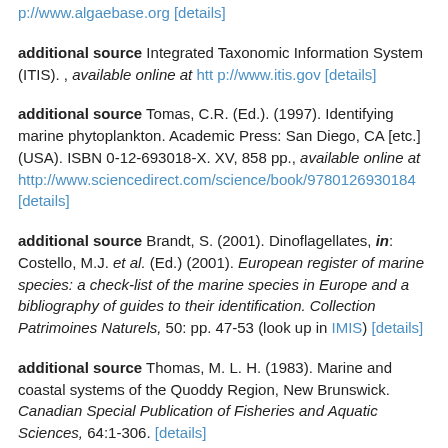p://www.algaebase.org [details]
additional source Integrated Taxonomic Information System (ITIS). , available online at http://www.itis.gov [details]
additional source Tomas, C.R. (Ed.). (1997). Identifying marine phytoplankton. Academic Press: San Diego, CA [etc.] (USA). ISBN 0-12-693018-X. XV, 858 pp., available online at http://www.sciencedirect.com/science/book/9780126930184 [details]
additional source Brandt, S. (2001). Dinoflagellates, in: Costello, M.J. et al. (Ed.) (2001). European register of marine species: a check-list of the marine species in Europe and a bibliography of guides to their identification. Collection Patrimoines Naturels, 50: pp. 47-53 (look up in IMIS) [details]
additional source Thomas, M. L. H. (1983). Marine and coastal systems of the Quoddy Region, New Brunswick. Canadian Special Publication of Fisheries and Aquatic Sciences, 64:1-306. [details]